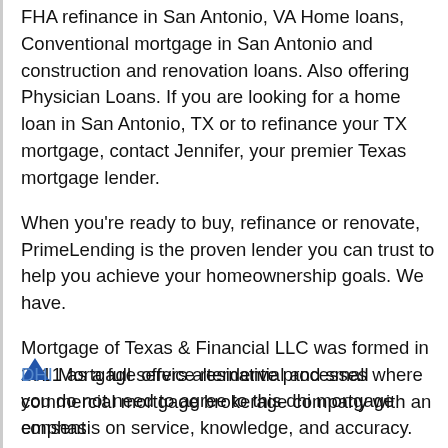FHA refinance in San Antonio, VA Home loans, Conventional mortgage in San Antonio and construction and renovation loans. Also offering Physician Loans. If you are looking for a home loan in San Antonio, TX or to refinance your TX mortgage, contact Jennifer, your premier Texas mortgage lender.
When you're ready to buy, refinance or renovate, PrimeLending is the proven lender you can trust to help you achieve your homeownership goals. We have.
Mortgage of Texas & Financial LLC was formed in 2011 as a full service residential and small commercial mortgage brokerage company with an emphasis on service, knowledge, and accuracy. The mortgage debacle of 2007 was avoidable yet we are all paying the consequences right now in one fashion or another.
DHI Mortgage offers alternative processes where you do not need to agree to this dhi mortgage consent